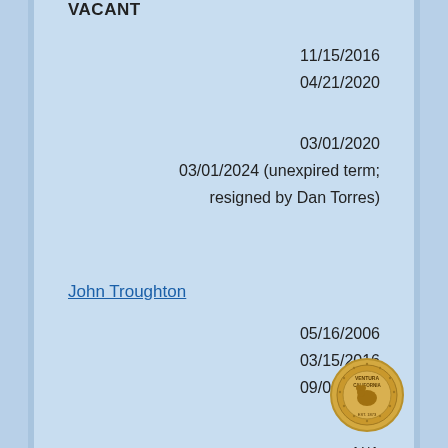VACANT
11/15/2016
04/21/2020
03/01/2020
03/01/2024 (unexpired term; resigned by Dan Torres)
John Troughton
05/16/2006
03/15/2016
09/08/2020
N/A
03/01/2020
03/01/2024
Len Turner
09/13/2...
03/15/2...
09/08/2020
[Figure (other): Questions? popup overlay with close button]